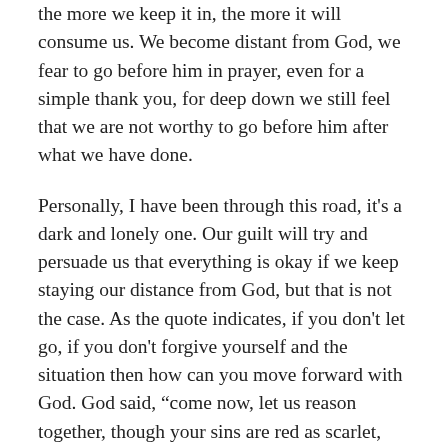the more we keep it in, the more it will consume us. We become distant from God, we fear to go before him in prayer, even for a simple thank you, for deep down we still feel that we are not worthy to go before him after what we have done.
Personally, I have been through this road, it's a dark and lonely one. Our guilt will try and persuade us that everything is okay if we keep staying our distance from God, but that is not the case. As the quote indicates, if you don't let go, if you don't forgive yourself and the situation then how can you move forward with God. God said, “come now, let us reason together, though your sins are red as scarlet, they shall be as white as snow” (Isaiah 1:8). God knew that at times we will go astray, but he will always receive us with open arms when we return to him like the father of the prodigal son (Luke 15:11-32).
God forgave the Israelites time and time again, even when